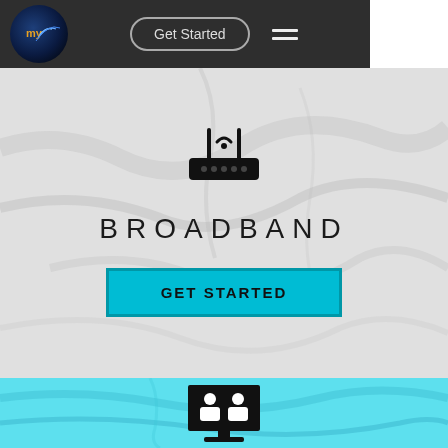[Figure (screenshot): Website screenshot showing a broadband internet service provider page. Dark navigation bar at top with circular logo, 'Get Started' button with rounded border, and hamburger menu. White marble textured background with WiFi router icon, 'BROADBAND' text in wide letter-spaced font, and a cyan 'GET STARTED' call-to-action button. Lower section has a light blue marble texture with a monitor/users icon at the bottom.]